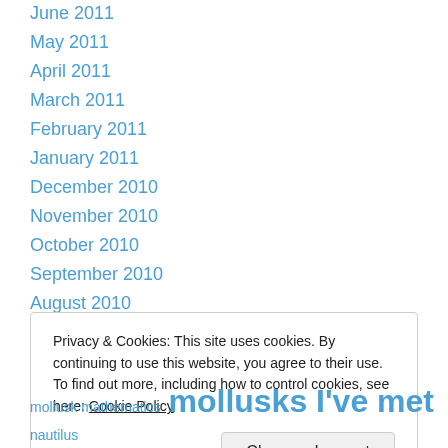June 2011
May 2011
April 2011
March 2011
February 2011
January 2011
December 2010
November 2010
October 2010
September 2010
August 2010
July 2010
Privacy & Cookies: This site uses cookies. By continuing to use this website, you agree to their use. To find out more, including how to control cookies, see here: Cookie Policy
Close and accept
mollusk mathematics  mollusks I've met  nautilus